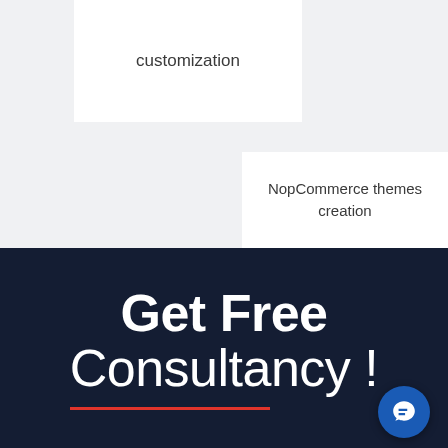customization
NopCommerce themes creation
Get Free Consultancy !